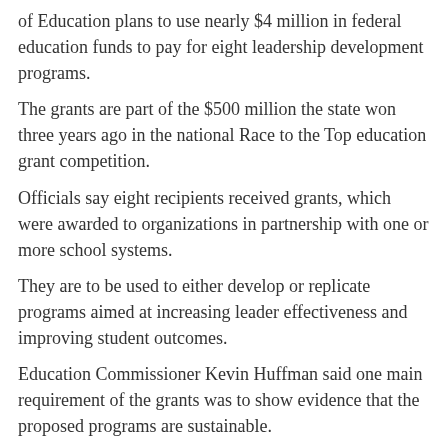of Education plans to use nearly $4 million in federal education funds to pay for eight leadership development programs. The grants are part of the $500 million the state won three years ago in the national Race to the Top education grant competition. Officials say eight recipients received grants, which were awarded to organizations in partnership with one or more school systems. They are to be used to either develop or replicate programs aimed at increasing leader effectiveness and improving student outcomes. Education Commissioner Kevin Huffman said one main requirement of the grants was to show evidence that the proposed programs are sustainable.
—
Note: For a list of the grant recipients and programs forom the Department of Education, click on this link: TNI EAD Grant Recipients Overview.pdf